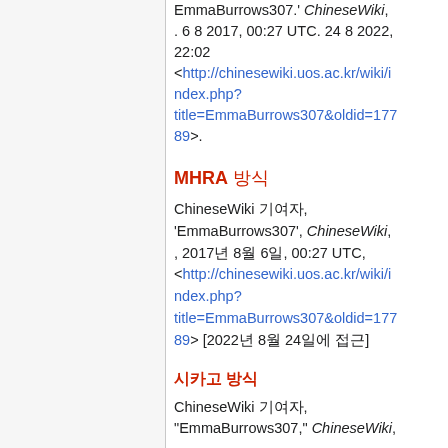EmmaBurrows307.' ChineseWiki, . 6 8 2017, 00:27 UTC. 24 8 2022, 22:02 <http://chinesewiki.uos.ac.kr/wiki/index.php?title=EmmaBurrows307&oldid=17789>.
MHRA 방식
ChineseWiki 기여자, 'EmmaBurrows307', ChineseWiki, , 2017년 8월 6일, 00:27 UTC, <http://chinesewiki.uos.ac.kr/wiki/index.php?title=EmmaBurrows307&oldid=17789> [2022년 8월 24일에 접근]
시카고 방식
ChineseWiki 기여자, "EmmaBurrows307," ChineseWiki,